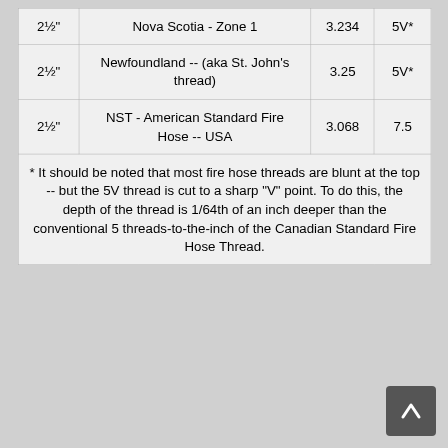| Size | Description | OD | TPI |
| --- | --- | --- | --- |
| 2½" | Nova Scotia - Zone 1 | 3.234 | 5V* |
| 2½" | Newfoundland -- (aka St. John's thread) | 3.25 | 5V* |
| 2½" | NST - American Standard Fire Hose -- USA | 3.068 | 7.5 |
* It should be noted that most fire hose threads are blunt at the top -- but the 5V thread is cut to a sharp "V" point. To do this, the depth of the thread is 1/64th of an inch deeper than the conventional 5 threads-to-the-inch of the Canadian Standard Fire Hose Thread.